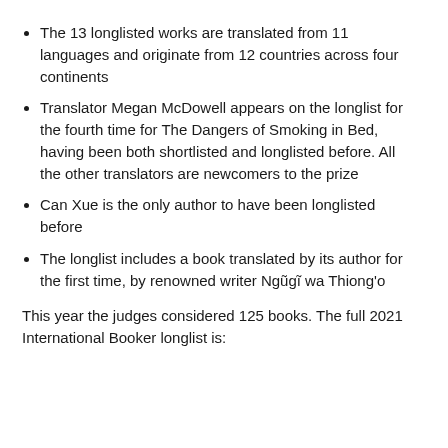The 13 longlisted works are translated from 11 languages and originate from 12 countries across four continents
Translator Megan McDowell appears on the longlist for the fourth time for The Dangers of Smoking in Bed, having been both shortlisted and longlisted before. All the other translators are newcomers to the prize
Can Xue is the only author to have been longlisted before
The longlist includes a book translated by its author for the first time, by renowned writer Ngũgĩ wa Thiong'o
This year the judges considered 125 books. The full 2021 International Booker longlist is: